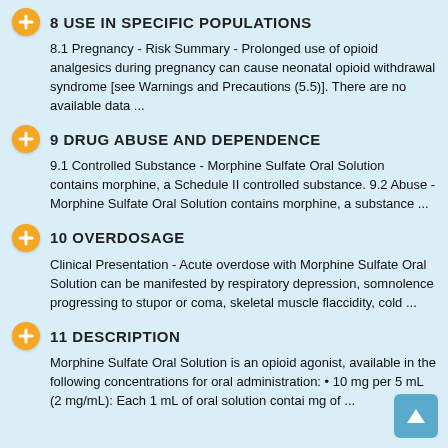8 USE IN SPECIFIC POPULATIONS
8.1 Pregnancy - Risk Summary - Prolonged use of opioid analgesics during pregnancy can cause neonatal opioid withdrawal syndrome [see Warnings and Precautions (5.5)]. There are no available data ...
9 DRUG ABUSE AND DEPENDENCE
9.1 Controlled Substance - Morphine Sulfate Oral Solution contains morphine, a Schedule II controlled substance. 9.2 Abuse - Morphine Sulfate Oral Solution contains morphine, a substance ...
10 OVERDOSAGE
Clinical Presentation - Acute overdose with Morphine Sulfate Oral Solution can be manifested by respiratory depression, somnolence progressing to stupor or coma, skeletal muscle flaccidity, cold ...
11 DESCRIPTION
Morphine Sulfate Oral Solution is an opioid agonist, available in the following concentrations for oral administration: • 10 mg per 5 mL (2 mg/mL): Each 1 mL of oral solution contai mg of ...